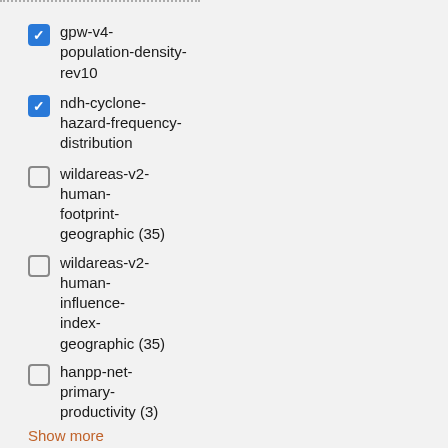gpw-v4-population-density-rev10
ndh-cyclone-hazard-frequency-distribution
wildareas-v2-human-footprint-geographic (35)
wildareas-v2-human-influence-index-geographic (35)
hanpp-net-primary-productivity (3)
Show more